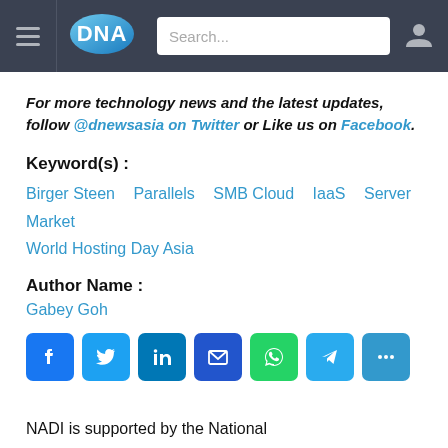DNA — navigation bar with menu icon, DNA logo, search bar, user icon
For more technology news and the latest updates, follow @dnewsasia on Twitter or Like us on Facebook.
Keyword(s) :
Birger Steen
Parallels
SMB Cloud
IaaS
Server Market
World Hosting Day Asia
Author Name :
Gabey Goh
[Figure (infographic): Social share icon buttons: Facebook, Twitter, LinkedIn, Email, WhatsApp, Telegram, Share/More]
NADI is supported by the National